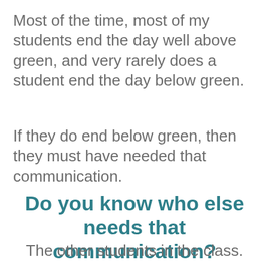Most of the time, most of my students end the day well above green, and very rarely does a student end the day below green.
If they do end below green, then they must have needed that communication.
Do you know who else needs that communication?
The other students in the class.